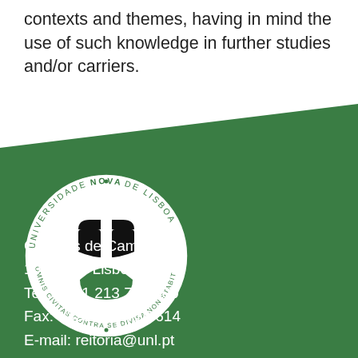contexts and themes, having in mind the use of such knowledge in further studies and/or carriers.
[Figure (logo): Universidade NOVA de Lisboa circular logo with white background, featuring a stylized black and green icon in the center and text around the circle reading 'UNIVERSIDADE NOVA DE LISBOA' and 'OMNIS CIVITAS CONTRA SE DIVISA NON STABIT']
Campus de Campolide
1099-085 Lisboa
Tel.: +351 213 715 600
Fax: +351 213 715 614
E-mail: reitoria@unl.pt